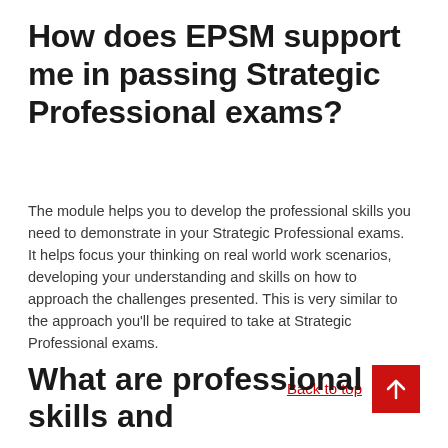How does EPSM support me in passing Strategic Professional exams?
The module helps you to develop the professional skills you need to demonstrate in your Strategic Professional exams.  It helps focus your thinking on real world work scenarios, developing your understanding and skills on how to approach the challenges presented. This is very similar to the approach you'll be required to take at Strategic Professional exams.
Back to top
What are professional skills and